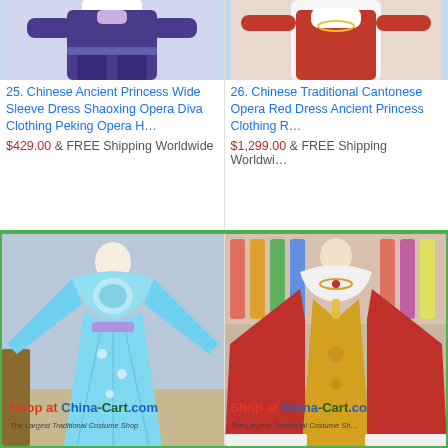[Figure (photo): Product image of Chinese Ancient Princess Wide Sleeve Dress, partially shown (blue/purple costume, top portion)]
25. Chinese Ancient Princess Wide Sleeve Dress Shaoxing Opera Diva Clothing Peking Opera H…
$429.00 & FREE Shipping Worldwide
[Figure (photo): Product image of Chinese Traditional Cantonese Opera Red Dress Ancient Princess Clothing, partially shown (red/white costume, top portion)]
26. Chinese Traditional Cantonese Opera Red Dress Ancient Princess Clothing R…
$1,299.00 & FREE Shipping Worldwide
[Figure (photo): Full photo of blue Chinese opera costume (wide sleeve dress with decorative collar and long flowing skirt) with Shop at China-Cart.com watermark]
[Figure (photo): Full photo of red and yellow Chinese traditional Cantonese opera costume displayed on mannequin in store, with Shop at China-Cart.com watermark]